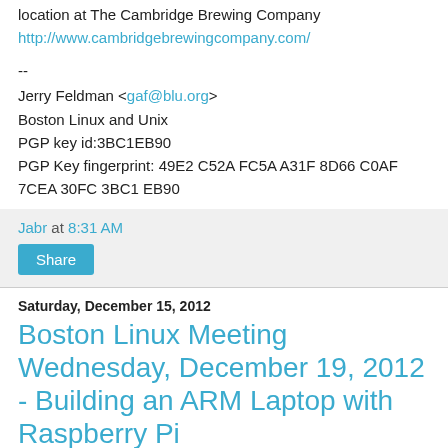location at The Cambridge Brewing Company
http://www.cambridgebrewingcompany.com/
--
Jerry Feldman <gaf@blu.org>
Boston Linux and Unix
PGP key id:3BC1EB90
PGP Key fingerprint: 49E2 C52A FC5A A31F 8D66 C0AF
7CEA 30FC 3BC1 EB90
Jabr at 8:31 AM
Share
Saturday, December 15, 2012
Boston Linux Meeting Wednesday, December 19, 2012 - Building an ARM Laptop with Raspberry Pi
When: December 19, 2012 7PM (6:30PM for Q&A)
Topic: Building an ARM Laptop with Raspberry Pi